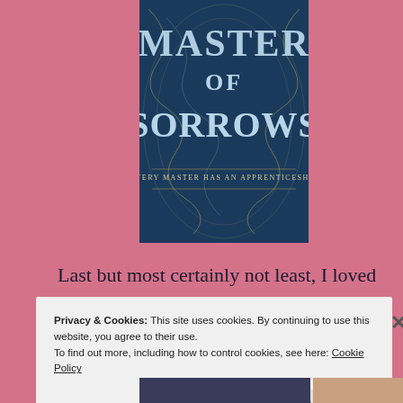[Figure (illustration): Book cover of 'Master of Sorrows' with subtitle 'EVERY MASTER HAS AN APPRENTICESHIP'. Dark blue ornate cover with golden swirl designs and large stylized text.]
Last but most certainly not least, I loved every moment of this book. It had a bit of a Name of the Wind vibe and belongs on the shelf among greats like Tolkien.
Privacy & Cookies: This site uses cookies. By continuing to use this website, you agree to their use.
To find out more, including how to control cookies, see here: Cookie Policy